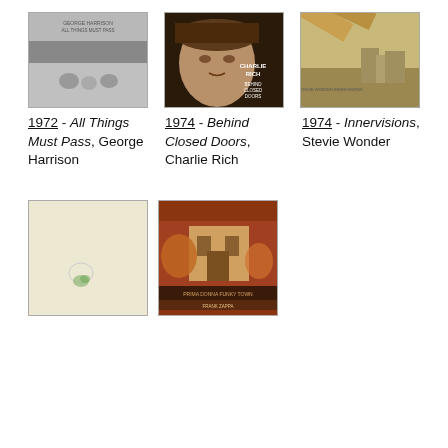[Figure (photo): Album cover: George Harrison - All Things Must Pass (1972), black and white photo of George Harrison sitting among gnomes outdoors]
[Figure (photo): Album cover: Charlie Rich - Behind Closed Doors (1974), close-up portrait of Charlie Rich wearing a brown hat]
[Figure (photo): Album cover: Stevie Wonder - Innervisions (1974), illustrated landscape with large architectural forms]
1972 - All Things Must Pass, George Harrison
1974 - Behind Closed Doors, Charlie Rich
1974 - Innervisions, Stevie Wonder
[Figure (photo): Album cover: cream/beige background with small illustrated figure, minimal design]
[Figure (photo): Album cover: colorful illustrated album art with text, warm orange and brown tones]